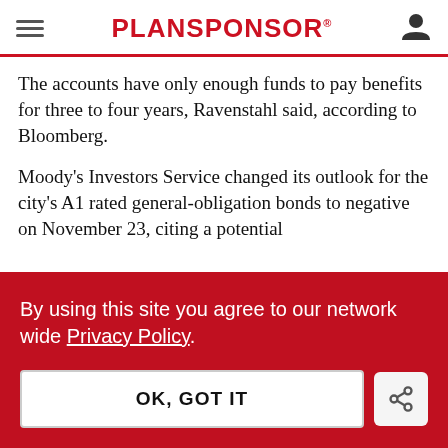PLANSPONSOR
The accounts have only enough funds to pay benefits for three to four years, Ravenstahl said, according to Bloomberg.
Moody's Investors Service changed its outlook for the city's A1 rated general-obligation bonds to negative on November 23, citing a potential
By using this site you agree to our network wide Privacy Policy.
OK, GOT IT